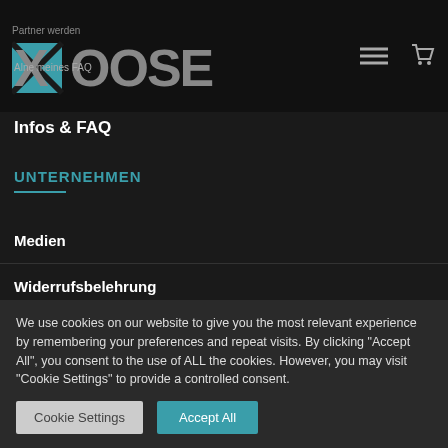Partner werden
[Figure (logo): XOOSE logo in grey/teal on dark background]
Alne meines FAQ
Infos & FAQ
UNTERNEHMEN
Medien
Widerrufsbelehrung
We use cookies on our website to give you the most relevant experience by remembering your preferences and repeat visits. By clicking "Accept All", you consent to the use of ALL the cookies. However, you may visit "Cookie Settings" to provide a controlled consent.
Cookie Settings | Accept All